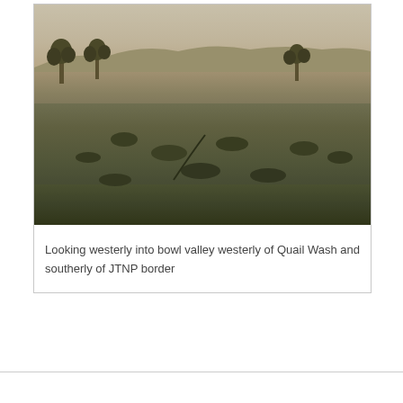[Figure (photo): Landscape photograph looking westerly into a bowl valley westerly of Quail Wash and southerly of JTNP border. Desert scrubland with Joshua trees and sparse shrubs visible across a wide valley. Muted brown and grey tones dominate the arid landscape.]
Looking westerly into bowl valley westerly of Quail Wash and southerly of JTNP border